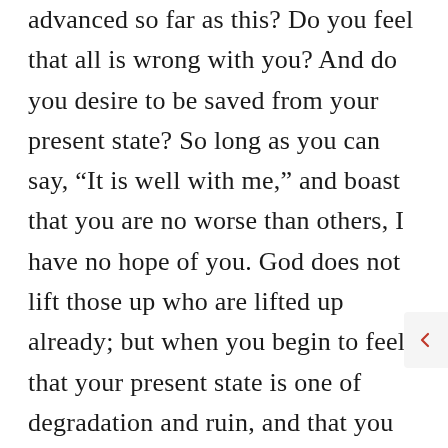advanced so far as this? Do you feel that all is wrong with you? And do you desire to be saved from your present state? So long as you can say, “It is well with me,” and boast that you are no worse than others, I have no hope of you. God does not lift those up who are lifted up already; but when you begin to feel that your present state is one of degradation and ruin, and that you fain would escape from it, then the Lord has put the lever under you, he has begun to raise you up. The next sign generally is that to such a man sin loses all sweetness. When the Lord begins to work